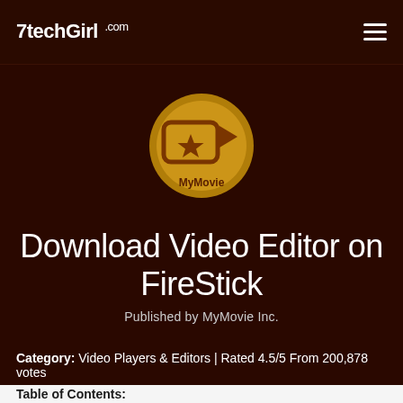7techGirl.com
[Figure (logo): App icon — yellow circle with a video camera icon containing a star, and text 'MyMovie' below]
Download Video Editor on FireStick
Published by MyMovie Inc.
Category: Video Players & Editors | Rated 4.5/5 From 200,878 votes
Table of Contents: